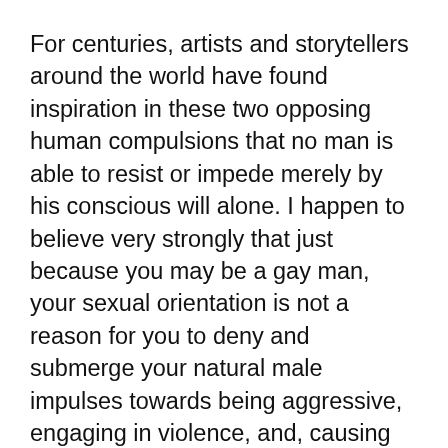For centuries, artists and storytellers around the world have found inspiration in these two opposing human compulsions that no man is able to resist or impede merely by his conscious will alone. I happen to believe very strongly that just because you may be a gay man, your sexual orientation is not a reason for you to deny and submerge your natural male impulses towards being aggressive, engaging in violence, and, causing pain and death.
I will share one little secret with you: All the males that I have ever met in my entire life (whether they were gay or not) have shown me both sides of these classic conflicting and opposing compulsions. So, this may explain